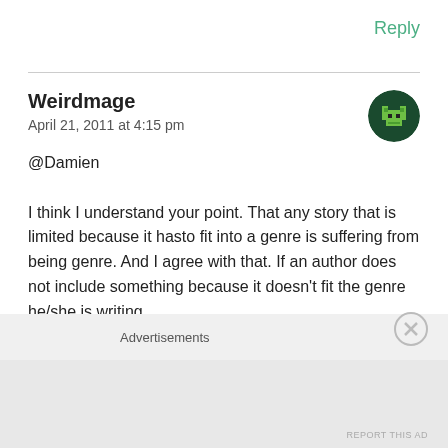Reply
Weirdmage
April 21, 2011 at 4:15 pm
@Damien

I think I understand your point. That any story that is limited because it hasto fit into a genre is suffering from being genre. And I agree with that. If an author does not include something because it doesn't fit the genre he/she is writing,
Advertisements